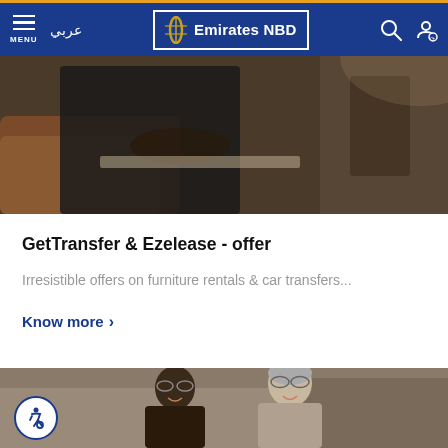Emirates NBD - MENU | عربي
[Figure (photo): Person in car interior, leather seat, working on laptop or device]
GetTransfer & Ezelease - offer
Irresistible offers on furniture rentals & car transfers...
Know more >
[Figure (photo): Two people wearing glasses laughing together in an office or store environment]